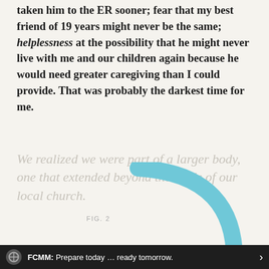taken him to the ER sooner; fear that my best friend of 19 years might never be the same; helplessness at the possibility that he might never live with me and our children again because he would need greater caregiving than I could provide. That was probably the darkest time for me.
We realized we were part of a larger body, one that extended beyond the walls of our local church.
FIG. 2
[Figure (illustration): A curved blue arc/stroke partially overlapping the pullquote text, decorative element.]
FCMM: Prepare today … ready tomorrow.